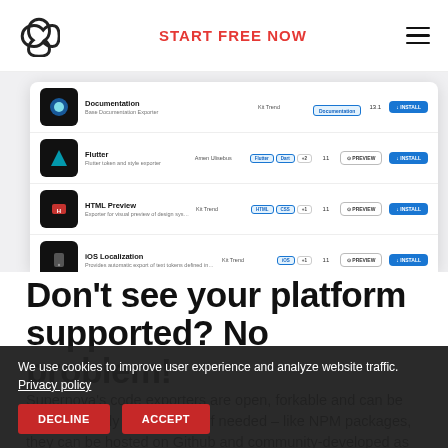START FREE NOW
[Figure (screenshot): Screenshot of a plugin marketplace showing four plugin rows: Documentation, Flutter, HTML Preview, and iOS Localization, each with thumbnail, description, author, tags, count, preview and install buttons.]
Don't see your platform supported? No problem!
Supernova's code exporters are open, forkable and can be written entirely from scratch if needed – like NPM packages, they can be hosted on Github and community-developed as well.
We use cookies to improve user experience and analyze website traffic. Privacy policy
DECLINE  ACCEPT